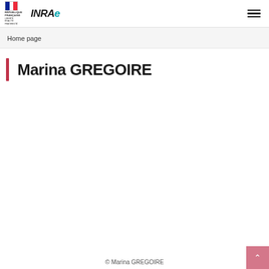République Française / INRAE — navigation header
Home page
Marina GREGOIRE
© Marina GREGOIRE